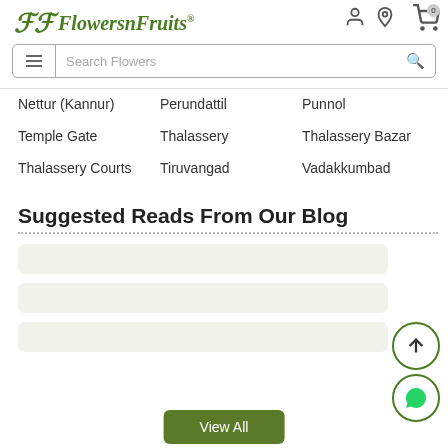FlowersnFruits - header with logo and search bar
Nettur (Kannur)
Perundattil
Punnol
Temple Gate
Thalassery
Thalassery Bazar
Thalassery Courts
Tiruvangad
Vadakkumbad
Suggested Reads From Our Blog
[Figure (screenshot): Three blog card placeholders (light beige rounded rectangles)]
View All